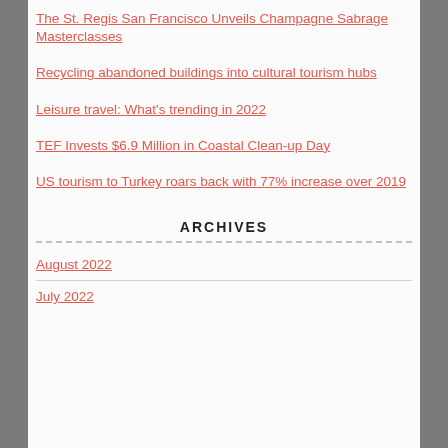The St. Regis San Francisco Unveils Champagne Sabrage Masterclasses
Recycling abandoned buildings into cultural tourism hubs
Leisure travel: What's trending in 2022
TEF Invests $6.9 Million in Coastal Clean-up Day
US tourism to Turkey roars back with 77% increase over 2019
ARCHIVES
August 2022
July 2022